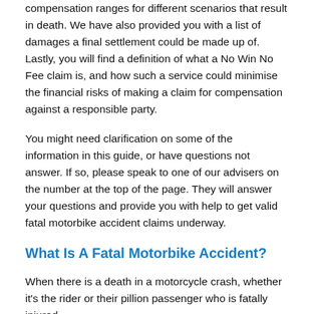compensation ranges for different scenarios that result in death. We have also provided you with a list of damages a final settlement could be made up of. Lastly, you will find a definition of what a No Win No Fee claim is, and how such a service could minimise the financial risks of making a claim for compensation against a responsible party.
You might need clarification on some of the information in this guide, or have questions not answer. If so, please speak to one of our advisers on the number at the top of the page. They will answer your questions and provide you with help to get valid fatal motorbike accident claims underway.
What Is A Fatal Motorbike Accident?
When there is a death in a motorcycle crash, whether it's the rider or their pillion passenger who is fatally injured